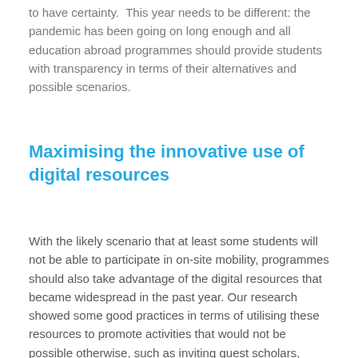to have certainty. This year needs to be different: the pandemic has been going on long enough and all education abroad programmes should provide students with transparency in terms of their alternatives and possible scenarios.
Maximising the innovative use of digital resources
With the likely scenario that at least some students will not be able to participate in on-site mobility, programmes should also take advantage of the digital resources that became widespread in the past year. Our research showed some good practices in terms of utilising these resources to promote activities that would not be possible otherwise, such as inviting guest scholars, integrating alumni and promoting interaction with groups in different countries.